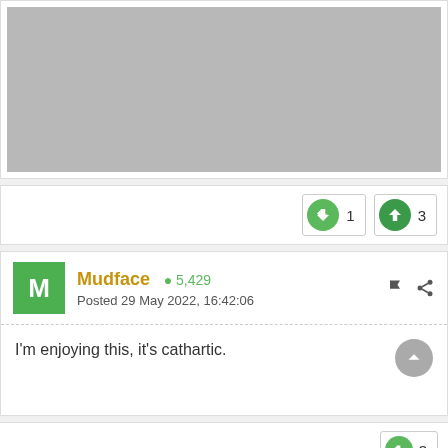[Figure (other): Gray placeholder image area]
1  3
Mudface  ● 5,429
Posted 29 May 2022, 16:42:06
I'm enjoying this, it's cathartic.
3